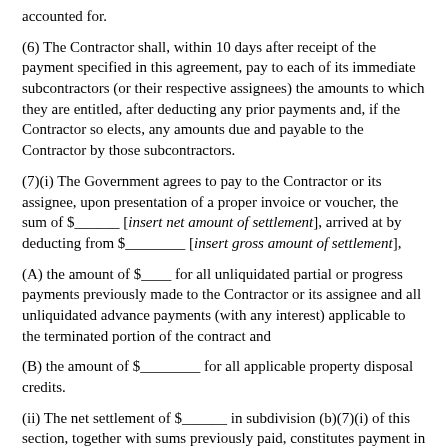accounted for.
(6) The Contractor shall, within 10 days after receipt of the payment specified in this agreement, pay to each of its immediate subcontractors (or their respective assignees) the amounts to which they are entitled, after deducting any prior payments and, if the Contractor so elects, any amounts due and payable to the Contractor by those subcontractors.
(7)(i) The Government agrees to pay to the Contractor or its assignee, upon presentation of a proper invoice or voucher, the sum of $______ [insert net amount of settlement], arrived at by deducting from $________ [insert gross amount of settlement],
(A) the amount of $____ for all unliquidated partial or progress payments previously made to the Contractor or its assignee and all unliquidated advance payments (with any interest) applicable to the terminated portion of the contract and
(B) the amount of $________ for all applicable property disposal credits.
(ii) The net settlement of $______ in subdivision (b)(7)(i) of this section, together with sums previously paid, constitutes payment in full and complete settlement of the amount due the Contractor for the terminated portion of the contract, except as provided in